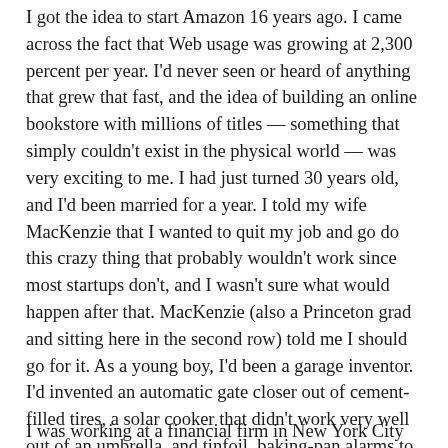I got the idea to start Amazon 16 years ago. I came across the fact that Web usage was growing at 2,300 percent per year. I'd never seen or heard of anything that grew that fast, and the idea of building an online bookstore with millions of titles — something that simply couldn't exist in the physical world — was very exciting to me. I had just turned 30 years old, and I'd been married for a year. I told my wife MacKenzie that I wanted to quit my job and go do this crazy thing that probably wouldn't work since most startups don't, and I wasn't sure what would happen after that. MacKenzie (also a Princeton grad and sitting here in the second row) told me I should go for it. As a young boy, I'd been a garage inventor. I'd invented an automatic gate closer out of cement-filled tires, a solar cooker that didn't work very well out of an umbrella, and tinfoil, baking-pan alarms to entrap my siblings. I'd always wanted to be an inventor, and she wanted me to follow my passion.
I was working at a financial firm in New York City with a